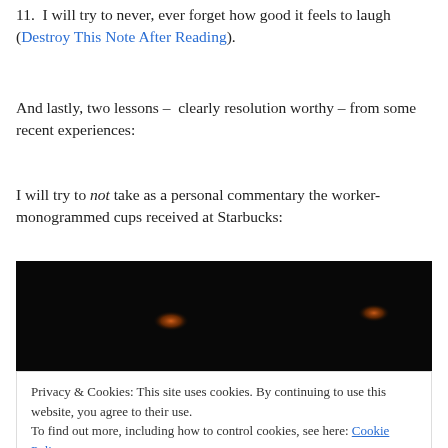11.  I will try to never, ever forget how good it feels to laugh (Destroy This Note After Reading).
And lastly, two lessons –  clearly resolution worthy – from some recent experiences:
I will try to not take as a personal commentary the worker-monogrammed cups received at Starbucks:
[Figure (photo): Dark/black background photo with two small orange/amber glowing dots, partially visible]
Privacy & Cookies: This site uses cookies. By continuing to use this website, you agree to their use. To find out more, including how to control cookies, see here: Cookie Policy
[Figure (photo): Bottom portion of image, dark gray/black tones]